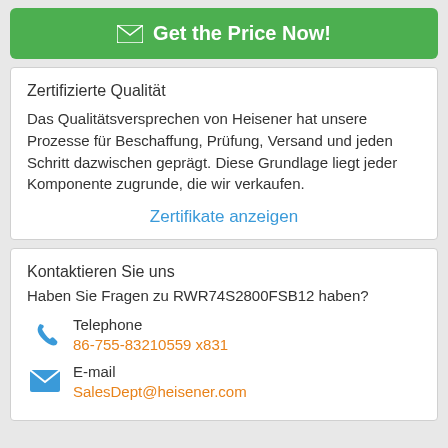[Figure (other): Green button with envelope icon and text 'Get the Price Now!']
Zertifizierte Qualität
Das Qualitätsversprechen von Heisener hat unsere Prozesse für Beschaffung, Prüfung, Versand und jeden Schritt dazwischen geprägt. Diese Grundlage liegt jeder Komponente zugrunde, die wir verkaufen.
Zertifikate anzeigen
Kontaktieren Sie uns
Haben Sie Fragen zu RWR74S2800FSB12 haben?
Telephone
86-755-83210559 x831
E-mail
SalesDept@heisener.com